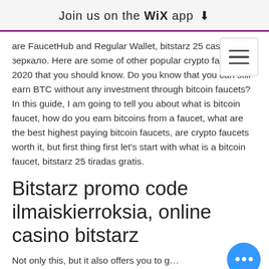Join us on the WiX app ↓
are FaucetHub and Regular Wallet, bitstarz 25 casino зеркало. Here are some other popular crypto faucets of 2020 that you should know. Do you know that you can still earn BTC without any investment through bitcoin faucets? In this guide, I am going to tell you about what is bitcoin faucet, how do you earn bitcoins from a faucet, what are the best highest paying bitcoin faucets, are crypto faucets worth it, but first thing first let's start with what is a bitcoin faucet, bitstarz 25 tiradas gratis.
Bitstarz promo code ilmaiskierroksia, online casino bitstarz
Not only this, but it also offers you to get high referral/affiliate commission ranging